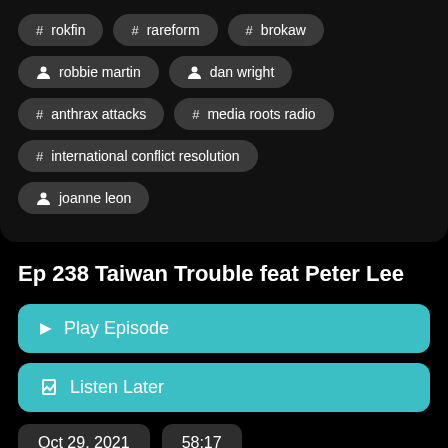# rokfin
# rareform
# brokaw
person robbie martin
person dan wright
# anthrax attacks
# media roots radio
# international conflict resolution
person joanne leon
Ep 238 Taiwan Trouble feat Peter Lee
Play Episode
Listen Later
Oct 29, 2021
58:17